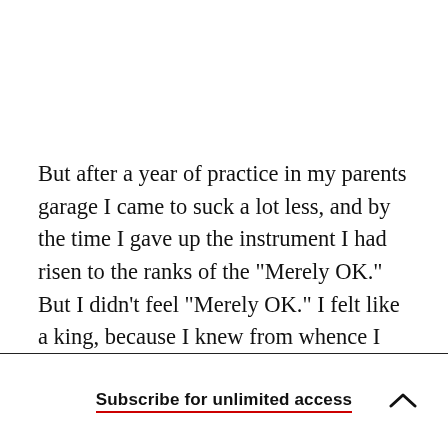But after a year of practice in my parents garage I came to suck a lot less, and by the time I gave up the instrument I had risen to the ranks of the "Merely OK." But I didn't feel "Merely OK." I felt like a king, because I knew from whence I came. I knew that great distance (and it is great) between "Utter Suckage" and "Merely OK." So while I
Subscribe for unlimited access